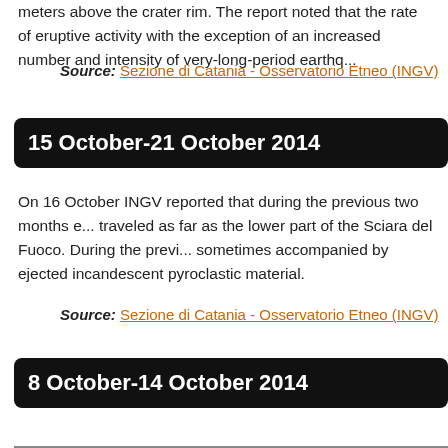meters above the crater rim. The report noted that the rate of eruptive activity with the exception of an increased number and intensity of very-long-period earthquakes.
Source: Sezione di Catania - Osservatorio Etneo (INGV)
15 October-21 October 2014
On 16 October INGV reported that during the previous two months explosive activity traveled as far as the lower part of the Sciara del Fuoco. During the previous week, sometimes accompanied by ejected incandescent pyroclastic material.
Source: Sezione di Catania - Osservatorio Etneo (INGV)
8 October-14 October 2014
Based on SIGMET notices, the Toulouse VAAC reported that ash from October however ash was not detected in good satellite views.
Source: Toulouse Volcanic Ash Advisory Centre (VAAC)